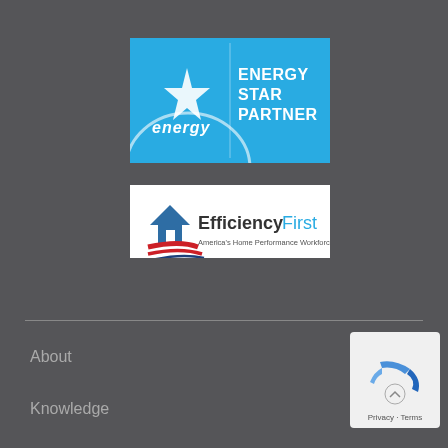[Figure (logo): ENERGY STAR Partner logo with blue background, white star and 'energy' script on left, 'ENERGY STAR PARTNER' text on right]
[Figure (logo): EfficiencyFirst logo with house icon, American flag swoosh, 'EfficiencyFirst' text, and 'America's Home Performance Workforce' tagline]
About
Knowledge
[Figure (other): Google Maps or similar privacy widget with blue arrow logo, chevron up icon, and 'Privacy · Terms' text]